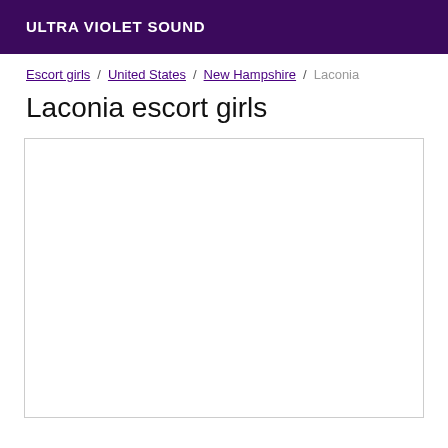ULTRA VIOLET SOUND
Escort girls / United States / New Hampshire / Laconia
Laconia escort girls
[Figure (other): Empty white content box with border]